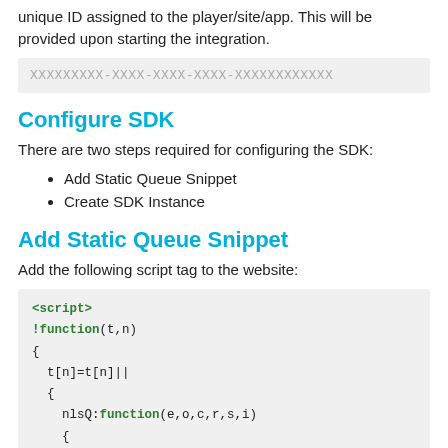unique ID assigned to the player/site/app. This will be provided upon starting the integration.
XXXXXXXXX-XXXX-XXXX-XXXX-XXXXXXXXXXXX
Configure SDK
There are two steps required for configuring the SDK:
Add Static Queue Snippet
Create SDK Instance
Add Static Queue Snippet
Add the following script tag to the website:
<script>
!function(t,n)
{
  t[n]=t[n]||
  {
    nlsQ:function(e,o,c,r,s,i)
    {